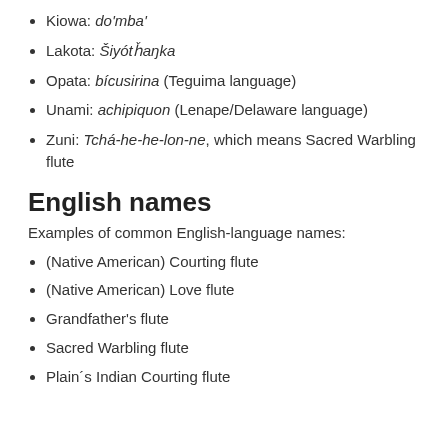Kiowa: do'mba'
Lakota: Šiyótȟaŋka
Opata: bícusirina (Teguima language)
Unami: achipiquon (Lenape/Delaware language)
Zuni: Tchá-he-he-lon-ne, which means Sacred Warbling flute
English names
Examples of common English-language names:
(Native American) Courting flute
(Native American) Love flute
Grandfather's flute
Sacred Warbling flute
Plain´s Indian Courting flute